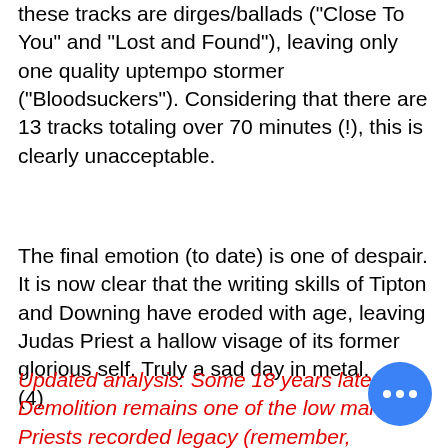these tracks are dirges/ballads ("Close To You" and "Lost and Found"), leaving only one quality uptempo stormer ("Bloodsuckers"). Considering that there are 13 tracks totaling over 70 minutes (!), this is clearly unacceptable.
The final emotion (to date) is one of despair. It is now clear that the writing skills of Tipton and Downing have eroded with age, leaving Judas Priest a hallow visage of its former glorious self. Truly a sad day in metal.
(4)
Updated analysis: Some 18 years later, Demolition remains one of the low marks of Priests recorded legacy (remember, Nostradamus was still to